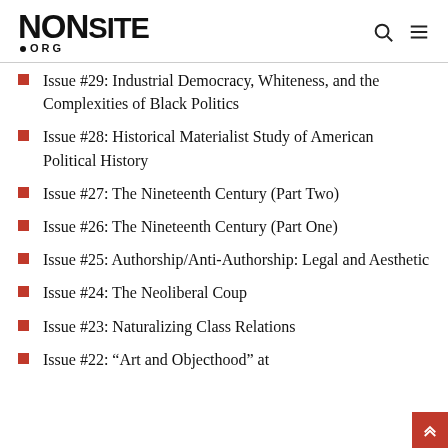NONSITE.ORG
Issue #29: Industrial Democracy, Whiteness, and the Complexities of Black Politics
Issue #28: Historical Materialist Study of American Political History
Issue #27: The Nineteenth Century (Part Two)
Issue #26: The Nineteenth Century (Part One)
Issue #25: Authorship/Anti-Authorship: Legal and Aesthetic
Issue #24: The Neoliberal Coup
Issue #23: Naturalizing Class Relations
Issue #22: “Art and Objecthood” at